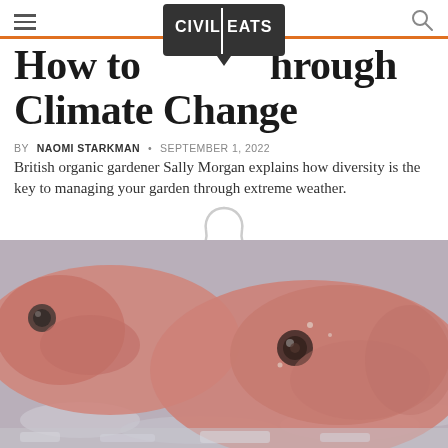Civil Eats
How to Garden through Climate Change
BY NAOMI STARKMAN • SEPTEMBER 1, 2022
British organic gardener Sally Morgan explains how diversity is the key to managing your garden through extreme weather.
[Figure (photo): Two red fish heads resting on ice, close-up photograph]